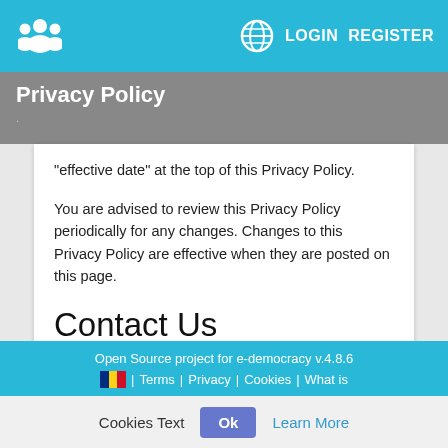LOGIN  REGISTER
Privacy Policy
"effective date" at the top of this Privacy Policy.
You are advised to review this Privacy Policy periodically for any changes. Changes to this Privacy Policy are effective when they are posted on this page.
Contact Us
If you have any questions about this Privacy Policy, please contact us at info@airesis.it.
Open Source project for e-democracy v.4.8.6 | Terms | Privacy | Cookies | What is
Cookies Text  Ok  Learn More